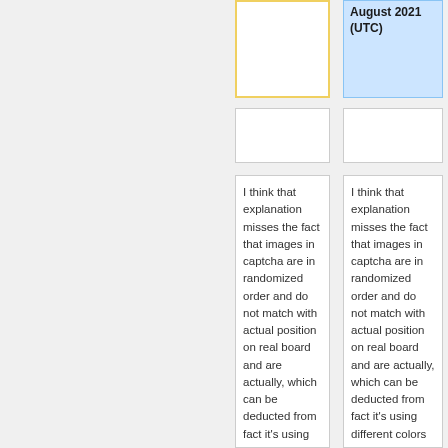August 2021 (UTC)
I think that explanation misses the fact that images in captcha are in randomized order and do not match with actual position on real board and are actually, which can be deducted from fact it's using different colors and font, from
I think that explanation misses the fact that images in captcha are in randomized order and do not match with actual position on real board and are actually, which can be deducted from fact it's using different colors and font, from